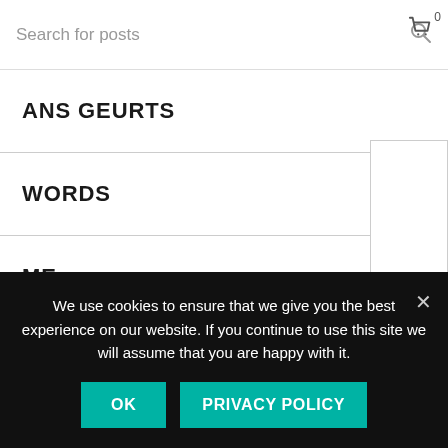Search for posts
ANS GEURTS
WORDS
ME
ART
CONTACT
We use cookies to ensure that we give you the best experience on our website. If you continue to use this site we will assume that you are happy with it.
OK   PRIVACY POLICY